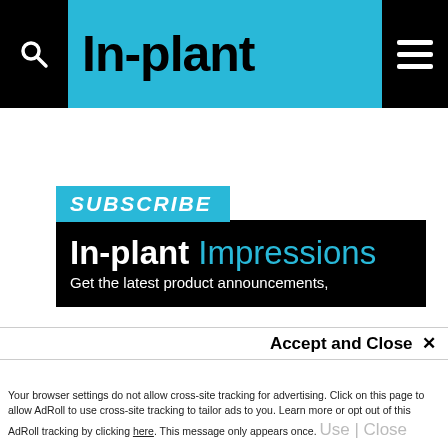In-plant
[Figure (screenshot): In-plant Impressions subscribe banner with black background showing bold white 'In-plant' and cyan 'Impressions' text, with a cyan 'SUBSCRIBE' badge. Tagline: 'Get the latest product announcements,']
This site uses cookies for tracking purposes. By continuing to browse our website, you agree to the storing of first- and third-party cookies on your device to enhance site navigation, analyze site usage, and assist in our marketing and
Accept and Close ✕
Your browser settings do not allow cross-site tracking for advertising. Click on this page to allow AdRoll to use cross-site tracking to tailor ads to you. Learn more or opt out of this AdRoll tracking by clicking here. This message only appears once.